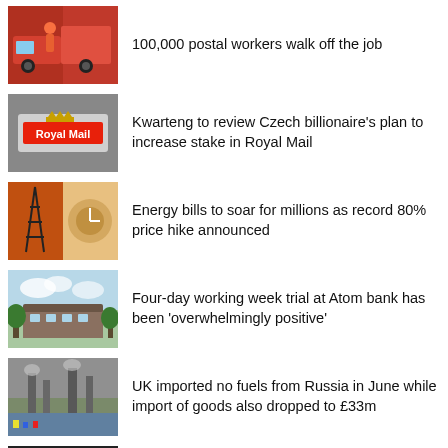[Figure (photo): Royal Mail postal worker in red uniform next to red van]
100,000 postal workers walk off the job
[Figure (photo): Royal Mail sign on a building]
Kwarteng to review Czech billionaire's plan to increase stake in Royal Mail
[Figure (photo): Electricity pylon and energy meter collage]
Energy bills to soar for millions as record 80% price hike announced
[Figure (photo): Atom bank building exterior]
Four-day working week trial at Atom bank has been 'overwhelmingly positive'
[Figure (photo): Industrial fuel import facility]
UK imported no fuels from Russia in June while import of goods also dropped to £33m
[Figure (photo): Partially visible photo at bottom of page]